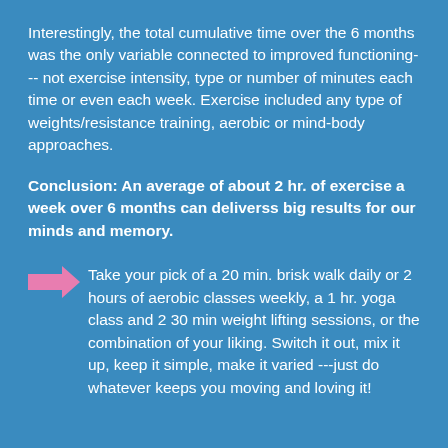Interestingly, the total cumulative time over the 6 months was the only variable connected to improved functioning--- not exercise intensity, type or number of minutes each time or even each week. Exercise included any type of weights/resistance training, aerobic or mind-body approaches.
Conclusion: An average of about 2 hr. of exercise a week over 6 months can deliverss big results for our minds and memory.
Take your pick of a 20 min. brisk walk daily or 2 hours of aerobic classes weekly, a 1 hr. yoga class and 2 30 min weight lifting sessions, or the combination of your liking. Switch it out, mix it up, keep it simple, make it varied ---just do whatever keeps you moving and loving it!